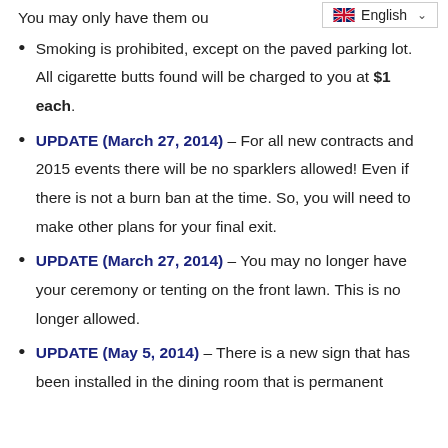You may only have them ou
Smoking is prohibited, except on the paved parking lot. All cigarette butts found will be charged to you at $1 each.
UPDATE (March 27, 2014) – For all new contracts and 2015 events there will be no sparklers allowed! Even if there is not a burn ban at the time. So, you will need to make other plans for your final exit.
UPDATE (March 27, 2014) – You may no longer have your ceremony or tenting on the front lawn. This is no longer allowed.
UPDATE (May 5, 2014) – There is a new sign that has been installed in the dining room that is permanent